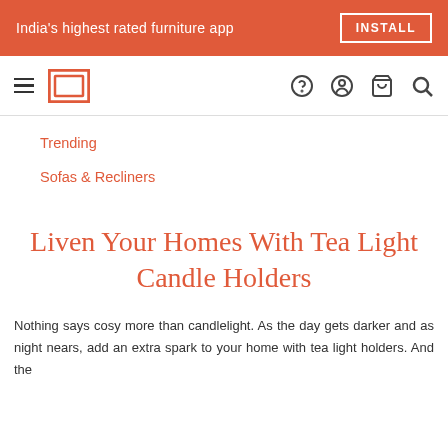India's highest rated furniture app  INSTALL
[Figure (screenshot): Navigation bar with hamburger menu, logo, help icon, account icon, cart icon, and search icon]
Trending
Sofas & Recliners
Liven Your Homes With Tea Light Candle Holders
Nothing says cosy more than candlelight. As the day gets darker and as night nears, add an extra spark to your home with tea light holders. And the